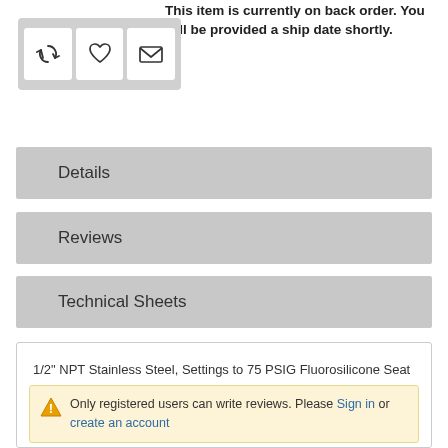This item is currently on back order. You will be provided a ship date shortly.
[Figure (screenshot): Three icon buttons in a gray box: refresh/sync icon, heart/wishlist icon, and envelope/email icon]
Details
Reviews
Technical Sheets
1/2" NPT Stainless Steel, Settings to 75 PSIG Fluorosilicone Seat
Only registered users can write reviews. Please Sign in or create an account
PRV_9400.pdf